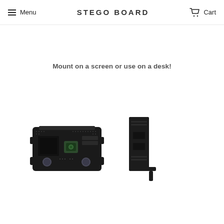Menu  STEGO BOARD  Cart
Mount on a screen or use on a desk!
[Figure (photo): Front view of Stego Board — a small dark PCB with gamepad-style buttons, a camera module, and dot-matrix decoration.]
[Figure (photo): Side/profile view of a dark monitor mount bracket with an L-shaped metal arm.]